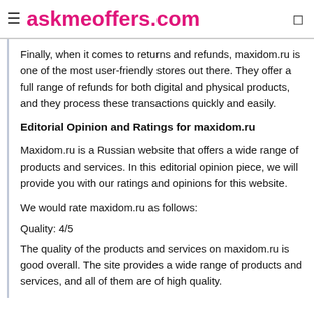askmeoffers.com
Finally, when it comes to returns and refunds, maxidom.ru is one of the most user-friendly stores out there. They offer a full range of refunds for both digital and physical products, and they process these transactions quickly and easily.
Editorial Opinion and Ratings for maxidom.ru
Maxidom.ru is a Russian website that offers a wide range of products and services. In this editorial opinion piece, we will provide you with our ratings and opinions for this website.
We would rate maxidom.ru as follows:
Quality: 4/5
The quality of the products and services on maxidom.ru is good overall. The site provides a wide range of products and services, and all of them are of high quality.